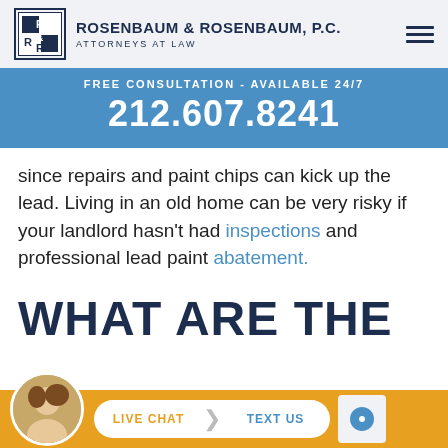[Figure (logo): Rosenbaum & Rosenbaum, P.C. law firm logo with R&R emblem and firm name]
FREE CONSULTATION - AVAILABLE 24/7
212.607.8241
since repairs and paint chips can kick up the lead. Living in an old home can be very risky if your landlord hasn't had inspections and professional lead paint abatement.
WHAT ARE THE
[Figure (screenshot): Live chat and text us footer bar with agent avatar, chat pill button, and reCAPTCHA badge]